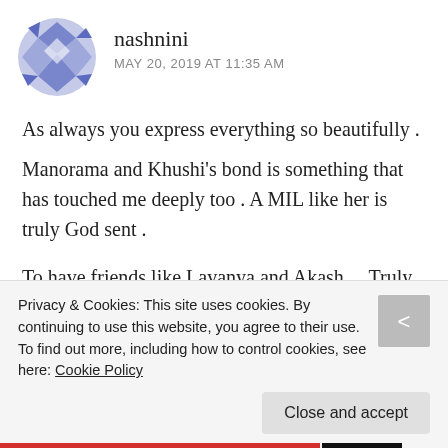[Figure (illustration): Avatar icon with blue and white geometric/diamond pattern]
nashnini
MAY 20, 2019 AT 11:35 AM
As always you express everything so beautifully .
Manorama and Khushi's bond is something that has touched me deeply too . A MIL like her is truly God sent .
To have friends like Lavanya and Akash ... Truly a blessing ❣
Privacy & Cookies: This site uses cookies. By continuing to use this website, you agree to their use.
To find out more, including how to control cookies, see here: Cookie Policy
Close and accept